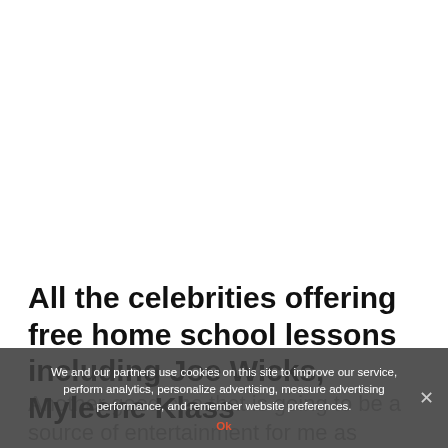[Figure (other): White/blank upper portion of webpage screenshot]
All the celebrities offering free home school lessons including Joe Wicks, Myleene Klass
Another good one that is going to be a source of entertainment for me as
We and our partners use cookies on this site to improve our service, perform analytics, personalize advertising, measure advertising performance, and remember website preferences.
Ok